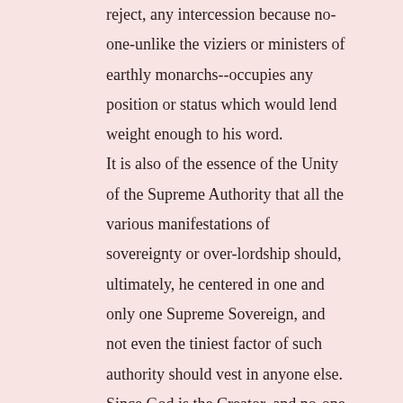reject, any intercession because no-one-unlike the viziers or ministers of earthly monarchs--occupies any position or status which would lend weight enough to his word.

It is also of the essence of the Unity of the Supreme Authority that all the various manifestations of sovereignty or over-lordship should, ultimately, he centered in one and only one Supreme Sovereign, and not even the tiniest factor of such authority should vest in anyone else. Since God is the Creator, and no-one else has had a share in the act of Creation, and since He alone is the Provider and no-one else shares this attribute with Him, and since He alone is the Controller and Administrator of the entire system of the Universe, and there is none to share these capacities with Him, it follows that He alone should also be the one to lay down the law, and that His word, and no-one else's should prevail, for there is no